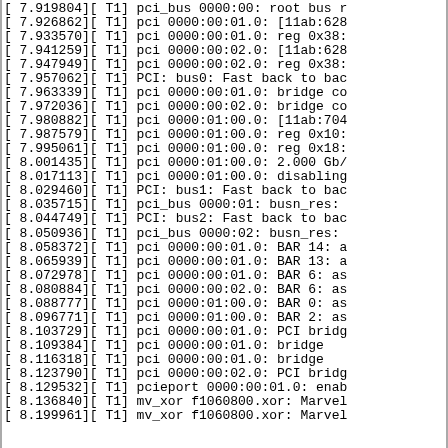[    7.919804][  T1] pci_bus 0000:00: root bus r
[    7.926862][  T1] pci 0000:00:01.0: [11ab:628
[    7.933570][  T1] pci 0000:00:01.0: reg 0x38:
[    7.941259][  T1] pci 0000:00:02.0: [11ab:628
[    7.947949][  T1] pci 0000:00:02.0: reg 0x38:
[    7.957062][  T1] PCI: bus0: Fast back to bac
[    7.963339][  T1] pci 0000:00:01.0: bridge co
[    7.972036][  T1] pci 0000:00:02.0: bridge co
[    7.980882][  T1] pci 0000:01:00.0: [11ab:704
[    7.987579][  T1] pci 0000:01:00.0: reg 0x10:
[    7.995061][  T1] pci 0000:01:00.0: reg 0x18:
[    8.001435][  T1] pci 0000:01:00.0: 2.000 Gb/
[    8.017113][  T1] pci 0000:01:00.0: disabling
[    8.029460][  T1] PCI: bus1: Fast back to bac
[    8.035715][  T1] pci_bus 0000:01: busn_res:
[    8.044749][  T1] PCI: bus2: Fast back to bac
[    8.050936][  T1] pci_bus 0000:02: busn_res:
[    8.058372][  T1] pci 0000:00:01.0: BAR 14: a
[    8.065939][  T1] pci 0000:00:01.0: BAR 13: a
[    8.072978][  T1] pci 0000:00:01.0: BAR 6: as
[    8.080884][  T1] pci 0000:00:02.0: BAR 6: as
[    8.088777][  T1] pci 0000:01:00.0: BAR 0: as
[    8.096771][  T1] pci 0000:01:00.0: BAR 2: as
[    8.103729][  T1] pci 0000:00:01.0: PCI bridg
[    8.109384][  T1] pci 0000:00:01.0:   bridge
[    8.116318][  T1] pci 0000:00:01.0:   bridge
[    8.123790][  T1] pci 0000:00:02.0: PCI bridg
[    8.129532][  T1] pcieport 0000:00:01.0: enab
[    8.136840][  T1] mv_xor f1060800.xor: Marvel
[    8.199961][  T1] mv_xor f1060800.xor: Marvel